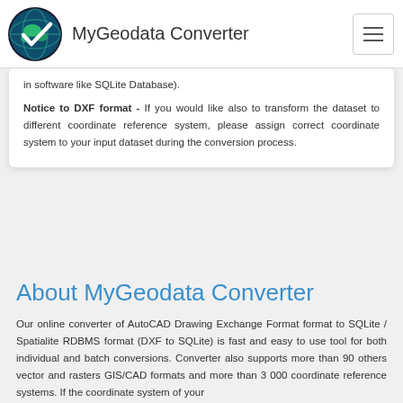MyGeodata Converter
in software like SQLite Database).

Notice to DXF format - If you would like also to transform the dataset to different coordinate reference system, please assign correct coordinate system to your input dataset during the conversion process.
About MyGeodata Converter
Our online converter of AutoCAD Drawing Exchange Format format to SQLite / Spatialite RDBMS format (DXF to SQLite) is fast and easy to use tool for both individual and batch conversions. Converter also supports more than 90 others vector and rasters GIS/CAD formats and more than 3 000 coordinate reference systems. If the coordinate system of your